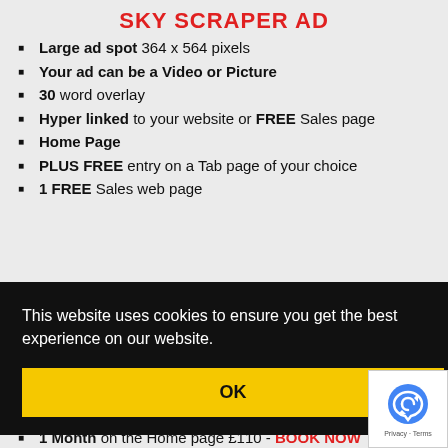SKY SCRAPER AD
Large ad spot 364 x 564 pixels
Your ad can be a Video or Picture
30 word overlay
Hyper linked to your website or FREE Sales page
Home Page
PLUS FREE entry on a Tab page of your choice
1 FREE Sales web page
This website uses cookies to ensure you get the best experience on our website.
OK
1 Month on the Home page £110 - BOOK NOW